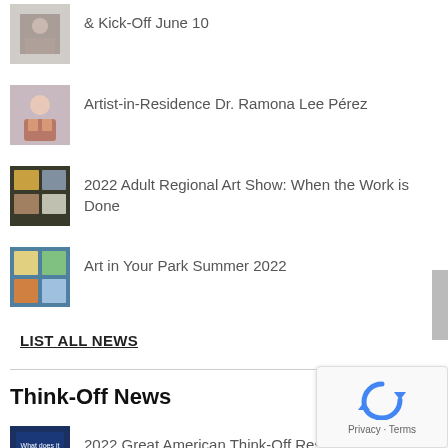& Kick-Off June 10
Artist-in-Residence Dr. Ramona Lee Pérez
2022 Adult Regional Art Show: When the Work is Done
Art in Your Park Summer 2022
LIST ALL NEWS
Think-Off News
2022 Great American Think-Off Results
2022 Great American Think-Off Finalist Essa…